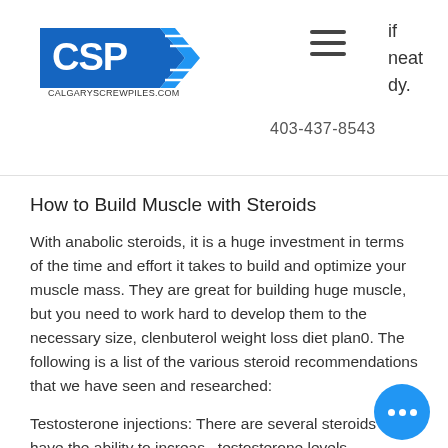CSP calgarycrewpiles.com — 403-437-8543
How to Build Muscle with Steroids
With anabolic steroids, it is a huge investment in terms of the time and effort it takes to build and optimize your muscle mass. They are great for building huge muscle, but you need to work hard to develop them to the necessary size, clenbuterol weight loss diet plan0. The following is a list of the various steroid recommendations that we have seen and researched:
Testosterone injections: There are several steroids that have the ability to increase testosterone levels, clenbuterol weight diet plan1. These include Testolactone